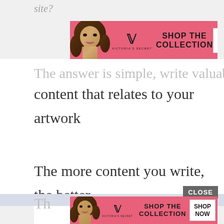site?
[Figure (screenshot): Victoria's Secret advertisement banner with model, VS logo, 'SHOP THE COLLECTION' text and 'SHOP NOW' button on pink background]
The answer is simple, write valuable content that relates to your artwork and art business.
The more content you write, the better your chance will be to rank high in the search results.
Th
[Figure (screenshot): Victoria's Secret advertisement banner (bottom) with model, VS logo, 'SHOP THE COLLECTION' text and 'SHOP NOW' button on pink background, with CLOSE button]